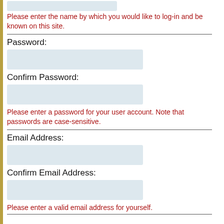[Figure (screenshot): Partially visible username input field at top of form]
Please enter the name by which you would like to log-in and be known on this site.
Password:
[Figure (screenshot): Password input field]
Confirm Password:
[Figure (screenshot): Confirm Password input field]
Please enter a password for your user account. Note that passwords are case-sensitive.
Email Address:
[Figure (screenshot): Email Address input field]
Confirm Email Address:
[Figure (screenshot): Confirm Email Address input field]
Please enter a valid email address for yourself.